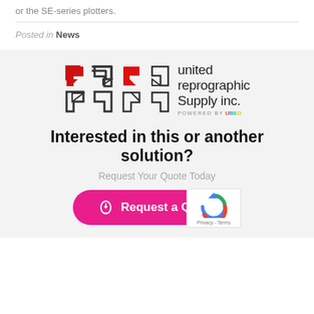or the SE-series plotters.
Posted in News
[Figure (logo): United Reprographic Supply Inc. logo, powered by Ubeo]
Interested in this or another solution?
Request Your Quote Today
Request a Quote